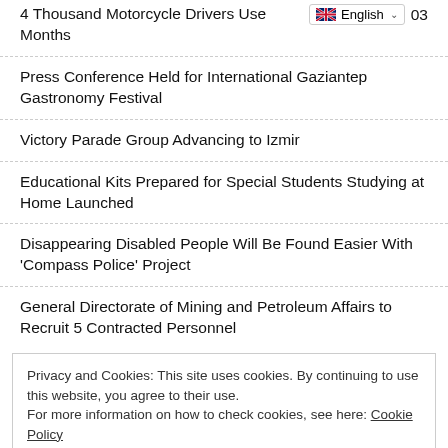4 Thousand Motorcycle Drivers Use... 03 Months
Press Conference Held for International Gaziantep Gastronomy Festival
Victory Parade Group Advancing to Izmir
Educational Kits Prepared for Special Students Studying at Home Launched
Disappearing Disabled People Will Be Found Easier With 'Compass Police' Project
General Directorate of Mining and Petroleum Affairs to Recruit 5 Contracted Personnel
Privacy and Cookies: This site uses cookies. By continuing to use this website, you agree to their use. For more information on how to check cookies, see here: Cookie Policy
Chin... Intern... Head Serv... Fresh... Elect... Capital Polit...